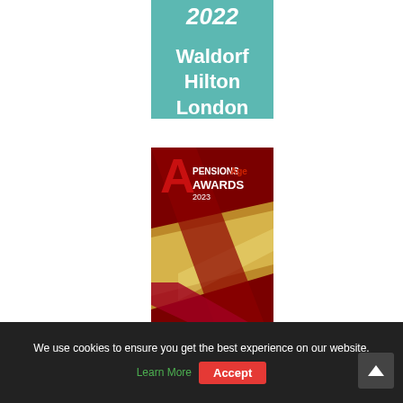[Figure (illustration): Partial teal/turquoise banner showing '2022' in bold italic white text, and below it 'Waldorf Hilton London' in bold white text. This is a cropped top portion of an awards banner.]
[Figure (illustration): Pensions Age Awards 2023 promotional banner with dark red background. Features a large red letter 'A' logo with 'PensionsAge' (Pensions in white, Age in red) and 'AWARDS 2023' below it. A diagonal gold/light beam design crosses the center. At the bottom partial text reads 'Deadline for'.]
We use cookies to ensure you get the best experience on our website. Learn More  Accept